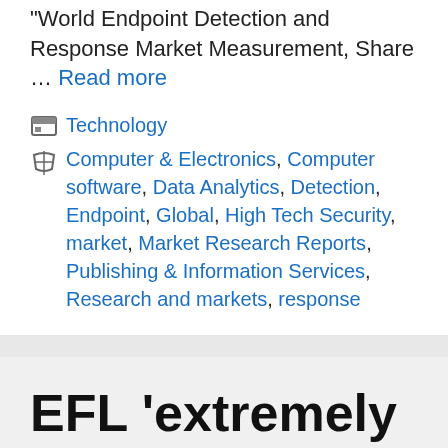World Endpoint Detection and Response Market Measurement, Share … Read more
Categories: Technology
Tags: Computer & Electronics, Computer software, Data Analytics, Detection, Endpoint, Global, High Tech Security, market, Market Research Reports, Publishing & Information Services, Research and markets, response
EFL 'extremely pissed off' with tech failure